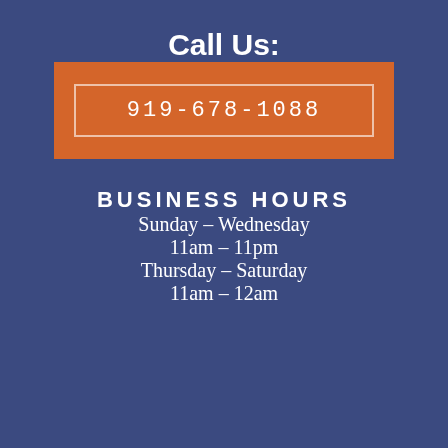Call Us:
919-678-1088
BUSINESS HOURS
Sunday – Wednesday
11am – 11pm
Thursday – Saturday
11am – 12am